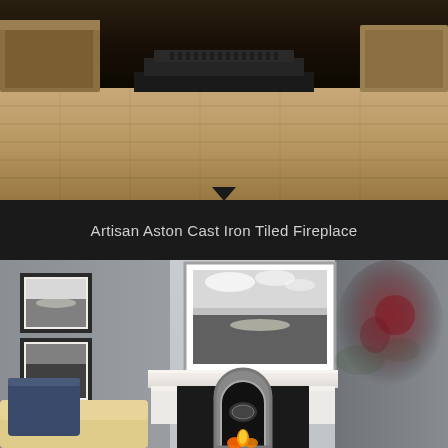[Figure (photo): Top-down view of a modern fireplace insert on a wooden floor with furniture visible in the background]
Artisan Aston Cast Iron Tiled Fireplace
[Figure (photo): Elegant white marble fireplace surround with cast iron insert featuring an arched opening and gas flame, set against a grey wall with framed artwork above, flanked by framed pictures on the left wall and a cream armchair with navy cushion]